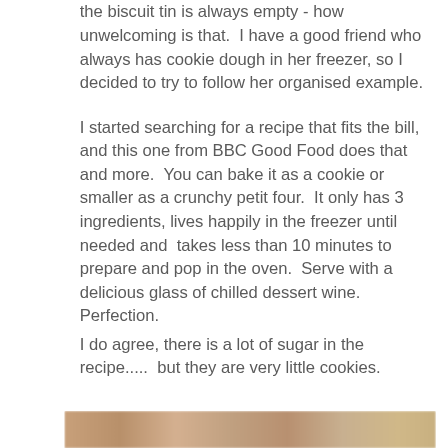the biscuit tin is always empty - how unwelcoming is that.  I have a good friend who always has cookie dough in her freezer, so I decided to try to follow her organised example.
I started searching for a recipe that fits the bill, and this one from BBC Good Food does that and more.  You can bake it as a cookie or smaller as a crunchy petit four.  It only has 3 ingredients, lives happily in the freezer until needed and  takes less than 10 minutes to prepare and pop in the oven.  Serve with a delicious glass of chilled dessert wine.  Perfection.
I do agree, there is a lot of sugar in the recipe.....  but they are very little cookies.
[Figure (photo): Blurred photo of biscuits/cookies, partially visible at bottom of page]